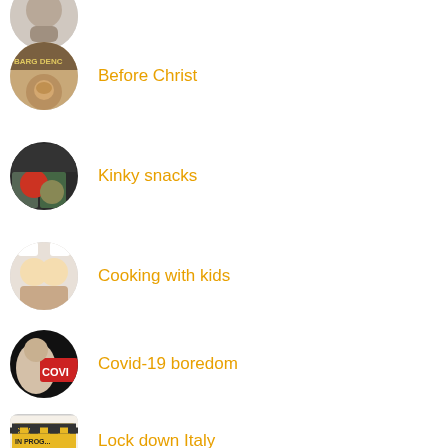Before Christ
Kinky snacks
Cooking with kids
Covid-19 boredom
Lock down Italy
CI20: Coronavirus Italy
Quarantine, 5 things to do